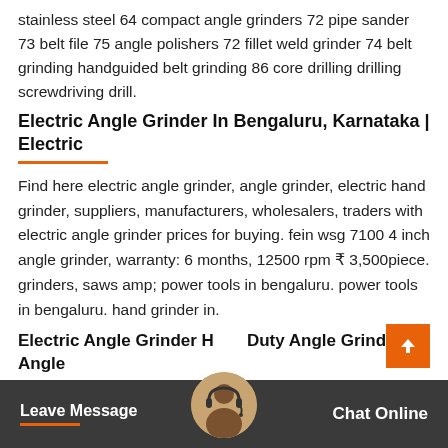stainless steel 64 compact angle grinders 72 pipe sander 73 belt file 75 angle polishers 72 fillet weld grinder 74 belt grinding handguided belt grinding 86 core drilling drilling screwdriving drill.
Electric Angle Grinder In Bengaluru, Karnataka | Electric
Find here electric angle grinder, angle grinder, electric hand grinder, suppliers, manufacturers, wholesalers, traders with electric angle grinder prices for buying. fein wsg 7100 4 inch angle grinder, warranty: 6 months, 12500 rpm ₹ 3,500piece. grinders, saws amp; power tools in bengaluru. power tools in bengaluru. hand grinder in.
Electric Angle Grinder Heavy Duty Angle Grinder, Angle
Leave Message   Chat Online